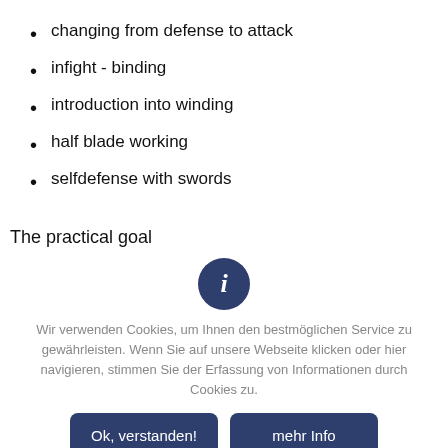changing from defense to attack
infight  - binding
introduction into winding
half blade working
selfdefense with swords
The practical goal
Wir verwenden Cookies, um Ihnen den bestmöglichen Service zu gewährleisten. Wenn Sie auf unsere Webseite klicken oder hier navigieren, stimmen Sie der Erfassung von Informationen durch Cookies zu.
Ok, verstanden!
mehr Info